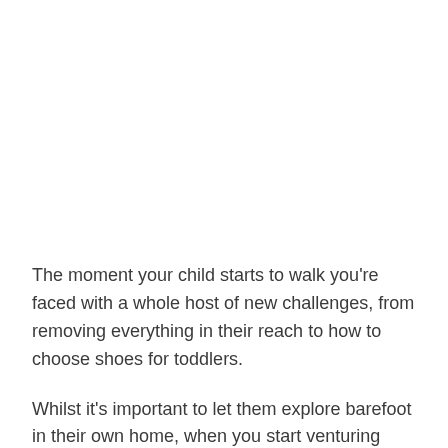The moment your child starts to walk you're faced with a whole host of new challenges, from removing everything in their reach to how to choose shoes for toddlers.
Whilst it's important to let them explore barefoot in their own home, when you start venturing outdoors you are going to need to the best shoes for toddlers to help protect